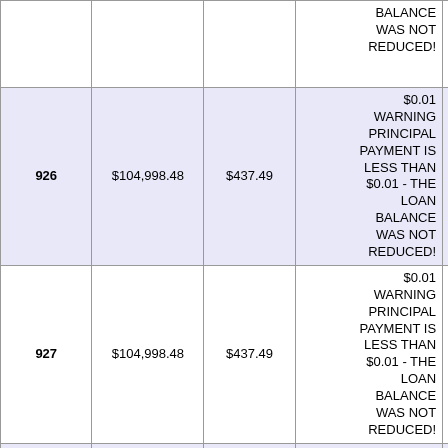|  |  |  |  |  |
| --- | --- | --- | --- | --- |
|  |  |  | BALANCE WAS NOT REDUCED! |  |
| 926 | $104,998.48 | $437.49 | $0.01 WARNING PRINCIPAL PAYMENT IS LESS THAN $0.01 - THE LOAN BALANCE WAS NOT REDUCED! | $104,998.48 |
| 927 | $104,998.48 | $437.49 | $0.01 WARNING PRINCIPAL PAYMENT IS LESS THAN $0.01 - THE LOAN BALANCE WAS NOT REDUCED! | $104,998.47 |
| 928 | $104,998.47 | $437.49 | $0.01 WARNING PRINCIPAL PAYMENT IS LESS THAN... | $104,998.46 |